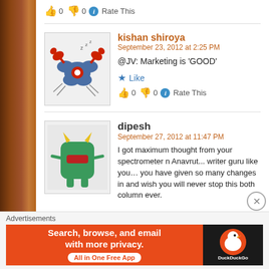👍 0 👎 0 ℹ Rate This
kishan shiroya
September 23, 2012 at 2:25 PM
@JV: Marketing is 'GOOD'
★ Like
👍 0 👎 0 ℹ Rate This
dipesh
September 27, 2012 at 11:47 PM
I got maximum thought from your spectrometer n Anavrut... writer guru like you… you have given so many changes in and wish you will never stop this both column ever.

Wish you best life dadu.

your fan
Advertisements
Search, browse, and email with more privacy.
All in One Free App
DuckDuckGo